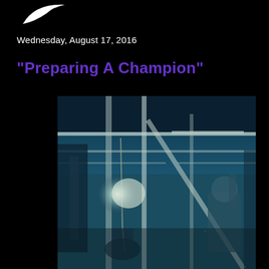[Figure (logo): White curved logo/swoosh shape in top-left corner on black background]
Wednesday, August 17, 2016
"Preparing A Champion"
[Figure (photo): Indoor gym photo with teal/blue tint showing exercise equipment, metal rack structures, bright lights, and a person working out in the background on the right side]